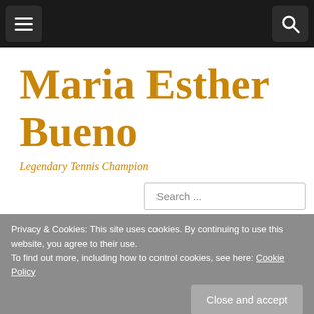Navigation bar with menu and search buttons
Maria Esther Bueno
Legendary Tennis Champion
Search ...
Privacy & Cookies: This site uses cookies. By continuing to use this website, you agree to their use.
To find out more, including how to control cookies, see here: Cookie Policy
Brazilian success
October 11, 2019